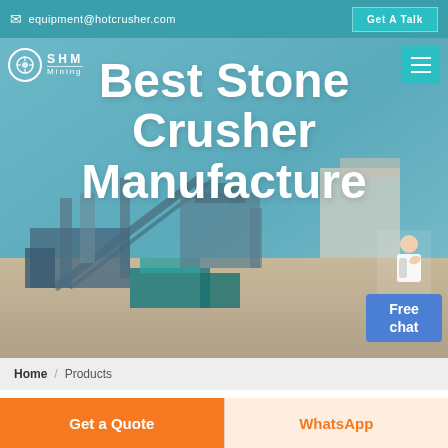equipment@hotcrusher.com | Get A Talk
[Figure (screenshot): Hero banner with industrial stone crusher plant machinery in background, teal/blue toned. SHM Mining logo on left, hamburger menu on right, Free chat widget bottom right with person avatar.]
Best Stone Crusher Manufacture
Home / Products
Different Machines To Meet All
Get a Quote
WhatsApp